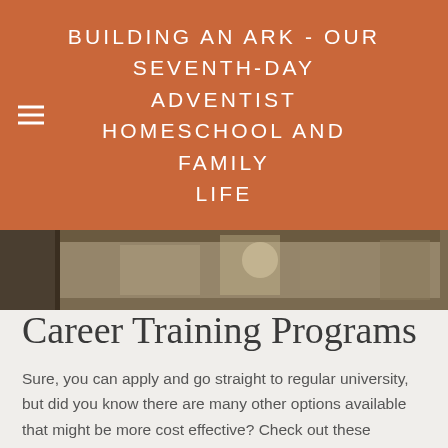BUILDING AN ARK - OUR SEVENTH-DAY ADVENTIST HOMESCHOOL AND FAMILY LIFE
[Figure (photo): Partial view of a classroom or workshop scene with wooden objects and shelves in the background]
Career Training Programs
Sure, you can apply and go straight to regular university, but did you know there are many other options available that might be more cost effective?  Check out these awesome alternatives to traditional college for high school graduates!
Apprenticeship = Get paid to learn and